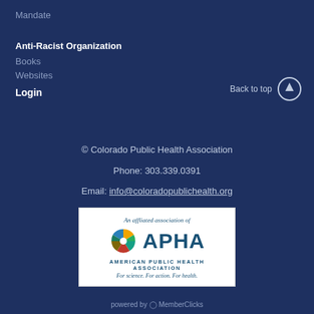Mandate
Anti-Racist Organization
Books
Websites
Login
Back to top
© Colorado Public Health Association
Phone: 303.339.0391
Email: info@coloradopublichealth.org
[Figure (logo): APHA - American Public Health Association affiliated association logo. Shows colorful pinwheel/aperture icon next to APHA letters, with tagline 'For science. For action. For health.']
powered by MemberClicks